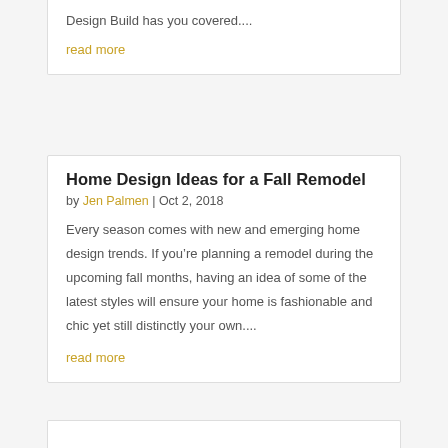Design Build has you covered....
read more
Home Design Ideas for a Fall Remodel
by Jen Palmen | Oct 2, 2018
Every season comes with new and emerging home design trends. If you’re planning a remodel during the upcoming fall months, having an idea of some of the latest styles will ensure your home is fashionable and chic yet still distinctly your own....
read more